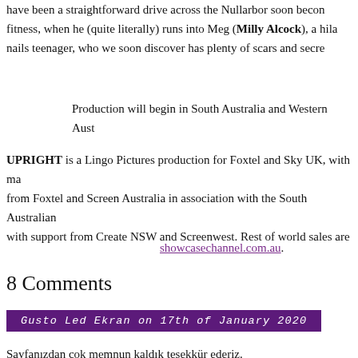have been a straightforward drive across the Nullarbor soon becon fitness, when he (quite literally) runs into Meg (Milly Alcock), a hila nails teenager, who we soon discover has plenty of scars and secre
Production will begin in South Australia and Western Aust
UPRIGHT is a Lingo Pictures production for Foxtel and Sky UK, with ma from Foxtel and Screen Australia in association with the South Australian with support from Create NSW and Screenwest. Rest of world sales are
showcasechannel.com.au.
8 Comments
Gusto Led Ekran on 17th of January 2020
Sayfanızdan çok memnun kaldık teşekkür ederiz.
Cécile on 6th of January 2020
Heard so much about the show but sadly can't watch it here in France…